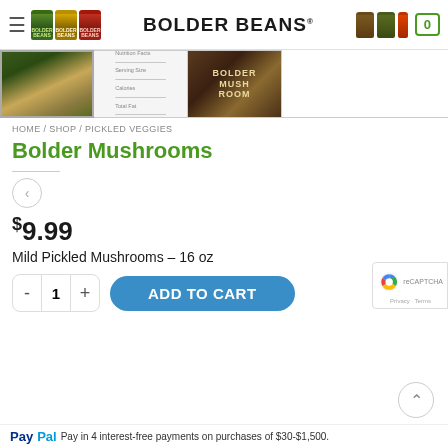BOLDER BEANS® navigation header with hamburger menu, jar logos, brand name, and cart icon showing 0
[Figure (photo): Three product thumbnail images: jar of Bolder Mushrooms, nutrition facts label, Bolder Mushrooms branding image]
HOME / SHOP / PICKLED VEGGIES
Bolder Mushrooms
$9.99
Mild Pickled Mushrooms – 16 oz
- 1 + ADD TO CART
[Figure (logo): reCAPTCHA badge with Google logo, Privacy and Terms links]
Pay in 4 interest-free payments on purchases of $30-$1,500.